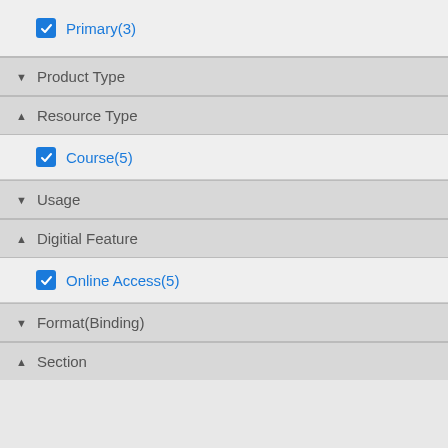Primary(3)
Product Type
Resource Type
Course(5)
Usage
Digitial Feature
Online Access(5)
Format(Binding)
Section